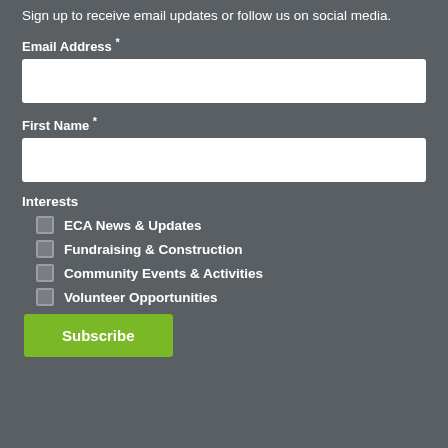Sign up to receive email updates or follow us on social media.
Email Address *
[Figure (other): Empty text input field for Email Address]
First Name *
[Figure (other): Empty text input field for First Name]
Interests
ECA News & Updates
Fundraising & Construction
Community Events & Activities
Volunteer Opportunities
Subscribe